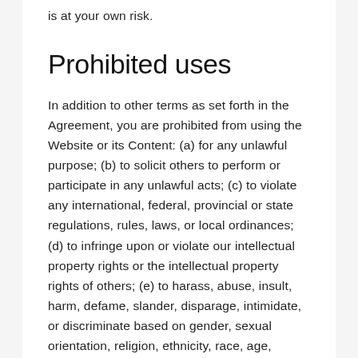is at your own risk.
Prohibited uses
In addition to other terms as set forth in the Agreement, you are prohibited from using the Website or its Content: (a) for any unlawful purpose; (b) to solicit others to perform or participate in any unlawful acts; (c) to violate any international, federal, provincial or state regulations, rules, laws, or local ordinances; (d) to infringe upon or violate our intellectual property rights or the intellectual property rights of others; (e) to harass, abuse, insult, harm, defame, slander, disparage, intimidate, or discriminate based on gender, sexual orientation, religion, ethnicity, race, age, national origin, or disability; (f) to submit false or